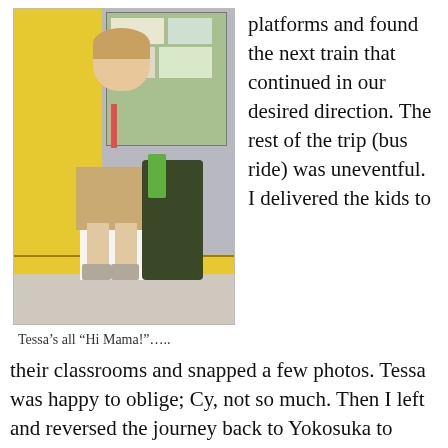[Figure (photo): A young girl in a white polo shirt and khaki skirt standing in a classroom with a yellow wall, bulletin board, and a backpack on the floor beside her.]
Tessa’s all “Hi Mama!”…..
platforms and found the next train that continued in our desired direction. The rest of the trip (bus ride) was uneventful. I delivered the kids to their classrooms and snapped a few photos. Tessa was happy to oblige; Cy, not so much. Then I left and reversed the journey back to Yokosuka to meet Mark and the realtor for
their classrooms and snapped a few photos. Tessa was happy to oblige; Cy, not so much. Then I left and reversed the journey back to Yokosuka to meet Mark and the realtor for